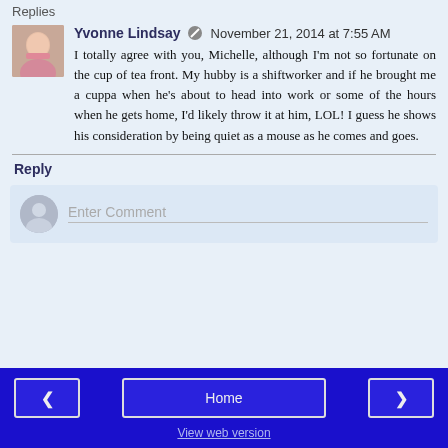Replies
Yvonne Lindsay  November 21, 2014 at 7:55 AM

I totally agree with you, Michelle, although I'm not so fortunate on the cup of tea front. My hubby is a shiftworker and if he brought me a cuppa when he's about to head into work or some of the hours when he gets home, I'd likely throw it at him, LOL! I guess he shows his consideration by being quiet as a mouse as he comes and goes.
Reply
Enter Comment
Home  View web version